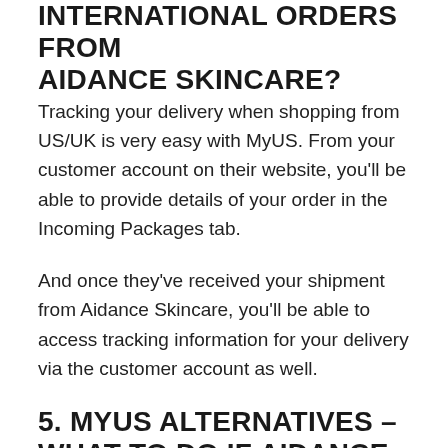INTERNATIONAL ORDERS FROM AIDANCE SKINCARE?
Tracking your delivery when shopping from US/UK is very easy with MyUS. From your customer account on their website, you’ll be able to provide details of your order in the Incoming Packages tab.
And once they’ve received your shipment from Aidance Skincare, you’ll be able to access tracking information for your delivery via the customer account as well.
5. MYUS ALTERNATIVES – WHAT TO DO IF AIDANCE SKINCARE WON’T SHIP TO YOUR MYUS ADDRESS